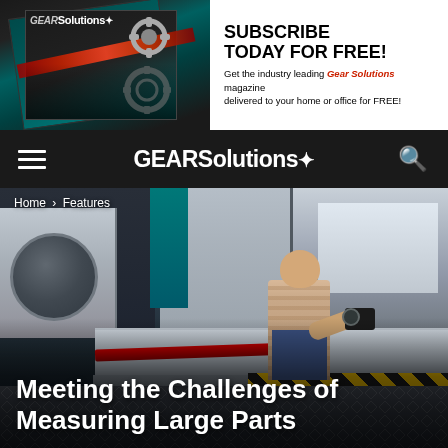[Figure (illustration): Gear Solutions magazine subscription advertisement banner showing magazine covers with gear imagery on the left side]
SUBSCRIBE TODAY FOR FREE! Get the industry leading Gear Solutions magazine delivered to your home or office for FREE!
GEARSolutions
Home › Features
[Figure (photo): Industrial measurement room showing a man holding a handheld measurement device, standing next to a large coordinate measuring machine table with yellow and black safety striping. Industrial equipment and columns in background.]
Meeting the Challenges of Measuring Large Parts